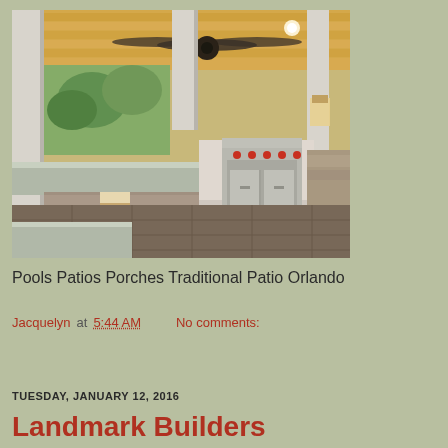[Figure (photo): Interior photo of an outdoor covered patio kitchen with a ceiling fan on a wood-paneled ceiling, stainless steel grill and appliances, stone-clad counters and bar seating, large open windows with greenery visible outside, and wood-look tile flooring.]
Pools Patios Porches Traditional Patio Orlando
Jacquelyn at 5:44 AM    No comments:
Share
TUESDAY, JANUARY 12, 2016
Landmark Builders